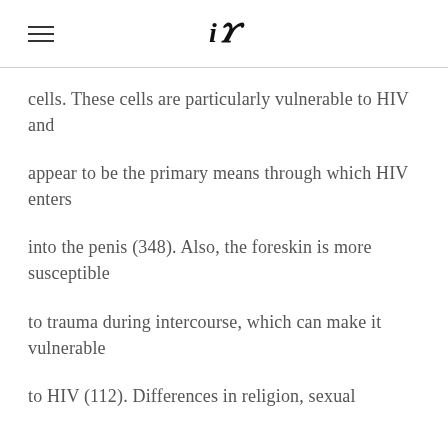iA
cells. These cells are particularly vulnerable to HIV and
appear to be the primary means through which HIV enters
into the penis (348). Also, the foreskin is more susceptible
to trauma during intercourse, which can make it vulnerable
to HIV (112). Differences in religion, sexual